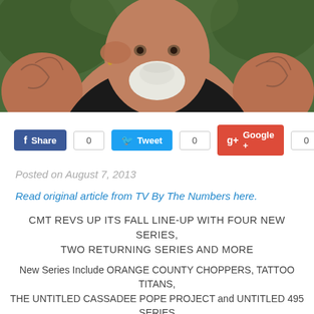[Figure (photo): Close-up photo of a large heavily tattooed man with white beard and mustache, wearing a black sleeveless shirt, with green foliage in background.]
Share 0   Tweet 0   Google + 0   Pin 0
Posted on August 7, 2013
Read original article from TV By The Numbers here.
CMT REVS UP ITS FALL LINE-UP WITH FOUR NEW SERIES, TWO RETURNING SERIES AND MORE
New Series Include ORANGE COUNTY CHOPPERS, TATTOO TITANS, THE UNTITLED CASSADEE POPE PROJECT and UNTITLED 495 SERIES
CMT CROSSROADS and Dallas COWBOYS CHEERLEADERS Also Return with New Episodes